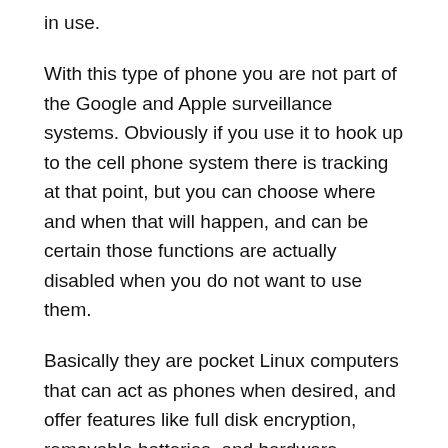in use.
With this type of phone you are not part of the Google and Apple surveillance systems. Obviously if you use it to hook up to the cell phone system there is tracking at that point, but you can choose where and when that will happen, and can be certain those functions are actually disabled when you do not want to use them.
Basically they are pocket Linux computers that can act as phones when desired, and offer features like full disk encryption, removable batteries, and hardware switches to disable Cell/GPS, cameras, and microphones when you want those things inactive. For internet use you can use whatever privacy-enhancing VPN service you choose that supports Linux.